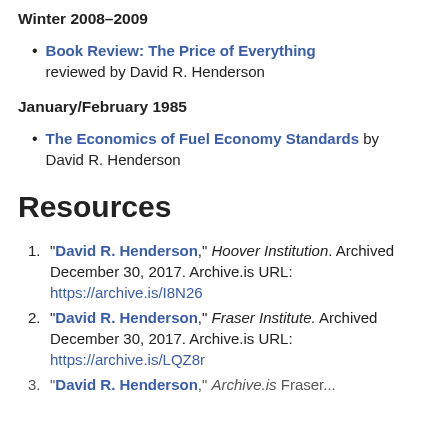Winter 2008–2009
Book Review: The Price of Everything reviewed by David R. Henderson
January/February 1985
The Economics of Fuel Economy Standards by David R. Henderson
Resources
"David R. Henderson," Hoover Institution. Archived December 30, 2017. Archive.is URL: https://archive.is/I8N26
"David R. Henderson," Fraser Institute. Archived December 30, 2017. Archive.is URL: https://archive.is/LQZ8r
"David R. Henderson," Archive.is Fraser...